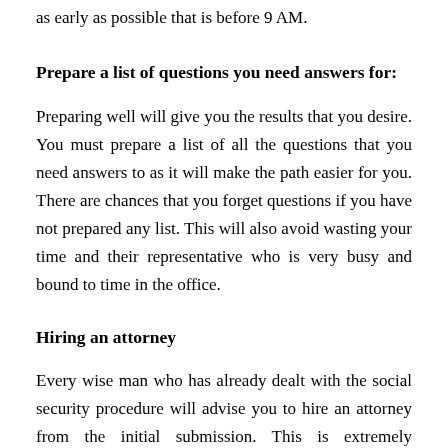as early as possible that is before 9 AM.
Prepare a list of questions you need answers for:
Preparing well will give you the results that you desire. You must prepare a list of all the questions that you need answers to as it will make the path easier for you. There are chances that you forget questions if you have not prepared any list. This will also avoid wasting your time and their representative who is very busy and bound to time in the office.
Hiring an attorney
Every wise man who has already dealt with the social security procedure will advise you to hire an attorney from the initial submission. This is extremely important